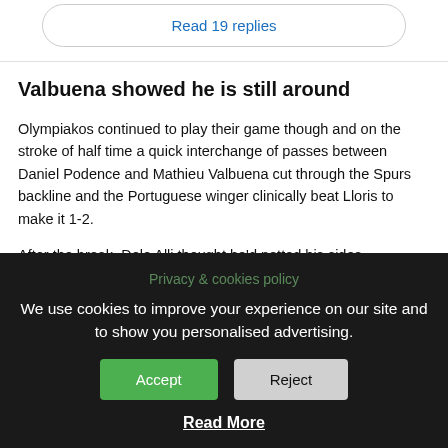Read 19 replies
Valbuena showed he is still around
Olympiakos continued to play their game though and on the stroke of half time a quick interchange of passes between Daniel Podence and Mathieu Valbuena cut through the Spurs backline and the Portuguese winger clinically beat Lloris to make it 1-2.
After the break, Dele Alli thought he'd netted his sides
Privacy & cookies policy
We use cookies to improve your experience on our site and to show you personalised advertising.
Accept
Reject
Read More